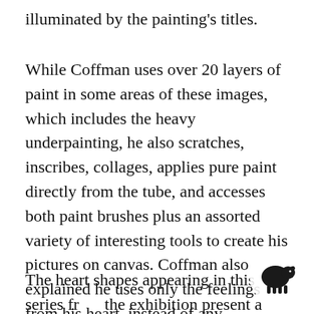illuminated by the painting's titles.
While Coffman uses over 20 layers of paint in some areas of these images, which includes the heavy underpainting, he also scratches, inscribes, collages, applies pure paint directly from the tube, and accesses both paint brushes plus an assorted variety of interesting tools to create his pictures on canvas. Coffman also explained he uses only the feelings from his heart, instead of any notebook sketches or pencil drawings when he paints, while often working on several at one time.
The heart shapes appearing in this series from the exhibition present a surprising element to
[Figure (illustration): Small black silhouette of a sheep/lamb icon inside a white circular background, overlapping the bottom-right corner of the text.]